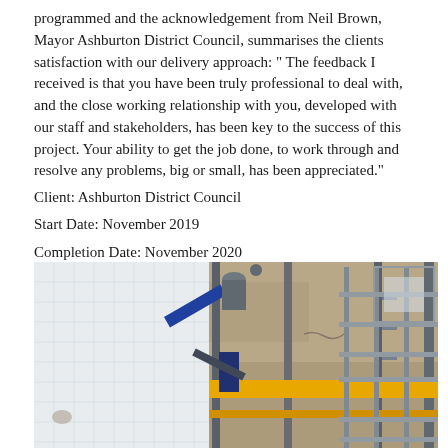programmed and the acknowledgement from Neil Brown, Mayor Ashburton District Council, summarises the clients satisfaction with our delivery approach: " The feedback I received is that you have been truly professional to deal with, and the close working relationship with you, developed with our staff and stakeholders, has been key to the success of this project. Your ability to get the job done, to work through and resolve any problems, big or small, has been appreciated."
Client: Ashburton District Council
Start Date: November 2019
Completion Date: November 2020
[Figure (photo): Photograph showing construction or engineering equipment/scaffolding with metal framework, a white panel on the left, yellow horizontal beams, and various mechanical components and pipes.]